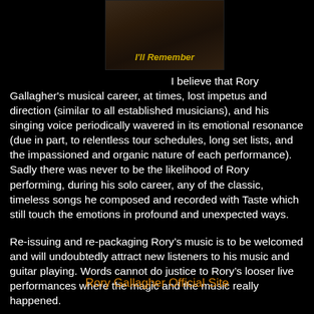[Figure (photo): Album cover image with text 'I'll Remember' in gold italic text over a dark background showing two figures]
I believe that Rory Gallagher's musical career, at times, lost impetus and direction (similar to all established musicians), and his singing voice periodically wavered in its emotional resonance (due in part, to relentless tour schedules, long set lists, and the impassioned and organic nature of each performance). Sadly there was never to be the likelihood of Rory performing, during his solo career, any of the classic, timeless songs he composed and recorded with Taste which still touch the emotions in profound and unexpected ways.
Re-issuing and re-packaging Rory’s music is to be welcomed and will undoubtedly attract new listeners to his music and guitar playing. Words cannot do justice to Rory’s looser live performances where the magic and the music really happened.
Rory Gallagher Official Site